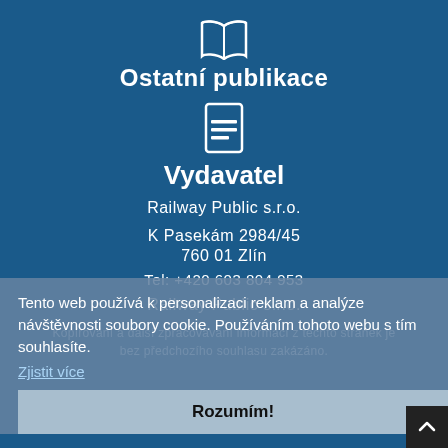[Figure (illustration): White open book icon]
Ostatní publikace
[Figure (illustration): White document/file icon with lines]
Vydavatel
Railway Public s.r.o.
K Pasekám 2984/45
760 01 Zlín
Tel: +420 603 804 953
Railway Public s.r.o.
Kopírování a další zpracovávání informací z těchto stránek je bez předchozího souhlasu zakázáno.
Tento web používá k personalizaci reklam a analýze návštěvnosti soubory cookie. Používáním tohoto webu s tím souhlasíte.
Zjistit více
Rozumím!